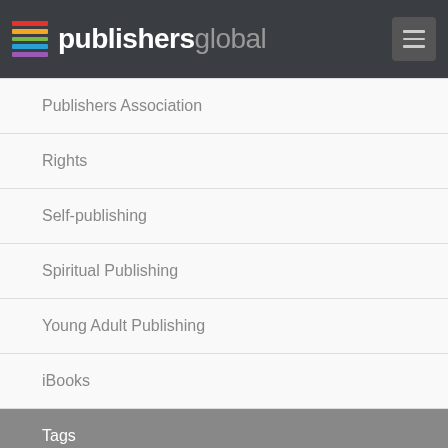publishersglobal
Publishers Association
Rights
Self-publishing
Spiritual Publishing
Young Adult Publishing
iBooks
Tags
#memoir
#simon schuster